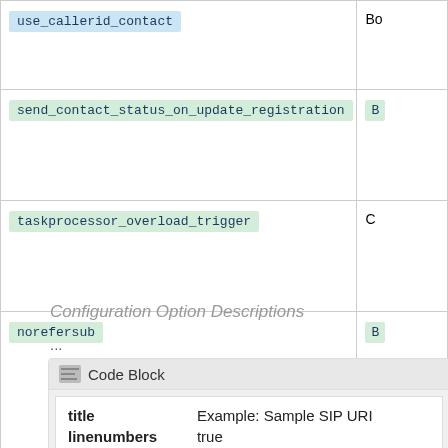| Option | Type |
| --- | --- |
| use_callerid_contact | Bo... |
| send_contact_status_on_update_registration | B... |
| taskprocessor_overload_trigger | C... |
| norefersub | B... |
Configuration Option Descriptions
...
Code Block
title  Example: Sample SIP URI
linenumbers  true